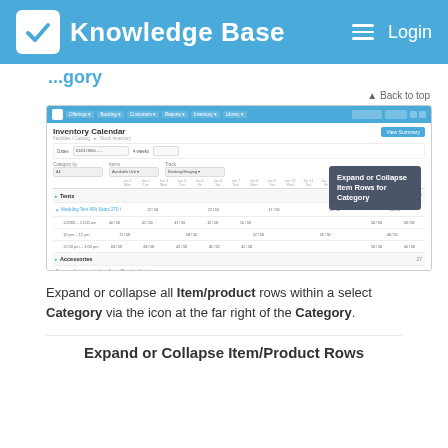Knowledge Base  Login
Back to top
[Figure (screenshot): Screenshot of an Inventory Calendar application interface showing category rows with item/product sub-rows, date columns, and a tooltip callout labeled 'Expand or Collapse Item Rows for Category' pointing to an icon at the far right of a category row.]
Expand or collapse all Item/product rows within a select Category via the icon at the far right of the Category.
Expand or Collapse Item/Product Rows